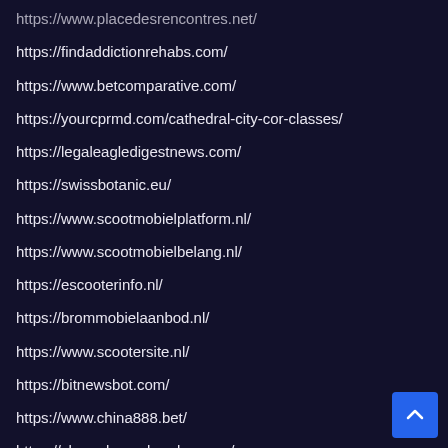https://www.placedesrencontres.net/
https://findaddictionrehabs.com/
https://www.betcomparative.com/
https://yourcprmd.com/cathedral-city-cor-classes/
https://legaleagledigestnews.com/
https://swissbotanic.eu/
https://www.scootmobielplatform.nl/
https://www.scootmobielbelang.nl/
https://escooterinfo.nl/
https://brommobielaanbod.nl/
https://www.scootersite.nl/
https://bitnewsbot.com/
https://www.china888.bet/
https://shop.alexandererber.com/
https://www.tvfreaks.gr/
https://www.yourcprmd.com/palm-springs-cor-classes/